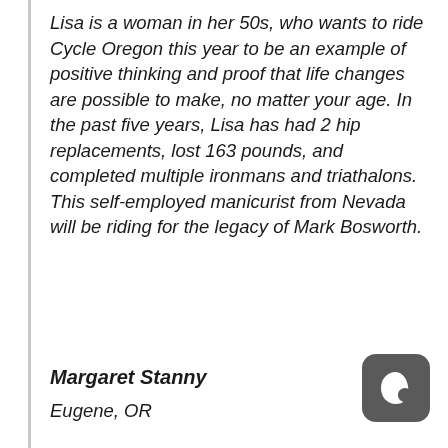Lisa is a woman in her 50s, who wants to ride Cycle Oregon this year to be an example of positive thinking and proof that life changes are possible to make, no matter your age. In the past five years, Lisa has had 2 hip replacements, lost 163 pounds, and completed multiple ironmans and triathalons. This self-employed manicurist from Nevada will be riding for the legacy of Mark Bosworth.
Margaret Stanny
Eugene, OR